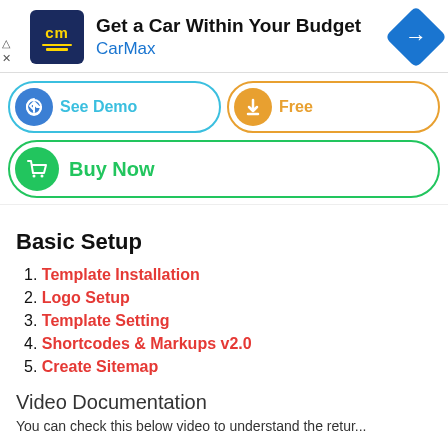[Figure (infographic): CarMax advertisement banner with logo, headline 'Get a Car Within Your Budget', brand name 'CarMax', and navigation arrow icon]
[Figure (infographic): Three call-to-action buttons: 'See Demo' (blue outline), 'Free' (orange outline), and 'Buy Now' (green outline), each with a circular icon on the left]
Basic Setup
1. Template Installation
2. Logo Setup
3. Template Setting
4. Shortcodes & Markups v2.0
5. Create Sitemap
Video Documentation
You can check this below video to understand the retur...